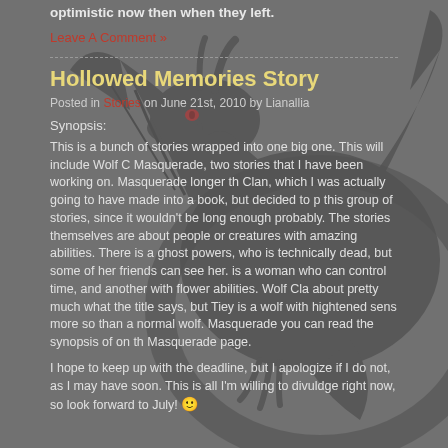optimistic now then when they left.
Leave A Comment »
Hollowed Memories Story
Posted in Stories on June 21st, 2010 by Lianallia
Synopsis:
This is a bunch of stories wrapped into one big one. This will include Wolf Clan, Masquerade, two stories that I have been working on. Masquerade longer than Wolf Clan, which I was actually going to have made into a book, but decided to put in this group of stories, since it wouldn't be long enough probably. The stories themselves are about people or creatures with amazing abilities. There is a ghost powers, who is technically dead, but some of her friends can see her. There is a woman who can control time, and another with flower abilities. Wolf Clan is about pretty much what the title says, but Tiey is a wolf with hightened senses more so than a normal wolf. Masquerade you can read the synopsis of on the Masquerade page.
I hope to keep up with the deadline, but I apologize if I do not, as I may have more soon. This is all I'm willing to divuldge right now, so look forward to July! 🙂